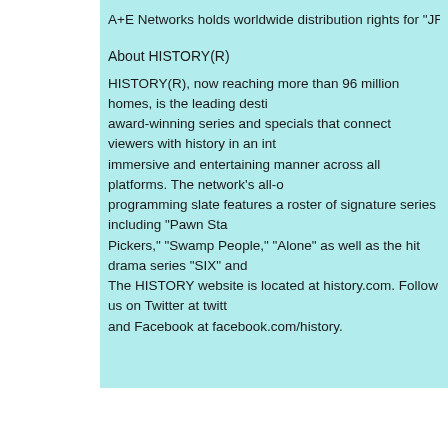A+E Networks holds worldwide distribution rights for "JFK Declassified: Trac
About HISTORY(R)
HISTORY(R), now reaching more than 96 million homes, is the leading desti award-winning series and specials that connect viewers with history in an int immersive and entertaining manner across all platforms. The network's all-o programming slate features a roster of signature series including "Pawn Sta Pickers," "Swamp People," "Alone" as well as the hit drama series "SIX" and The HISTORY website is located at history.com. Follow us on Twitter at twitt and Facebook at facebook.com/history.